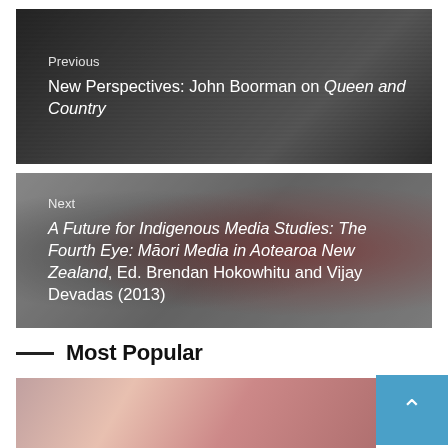[Figure (photo): Navigation block with dark grayscale background photo showing a blurred face, labeled 'Previous']
Previous
New Perspectives: John Boorman on Queen and Country
[Figure (photo): Navigation block with red and gray background photo, labeled 'Next']
Next
A Future for Indigenous Media Studies: The Fourth Eye: Māori Media in Aotearoa New Zealand, Ed. Brendan Hokowhitu and Vijay Devadas (2013)
Most Popular
[Figure (photo): Partial image at bottom showing red and skin tones, part of Most Popular section]